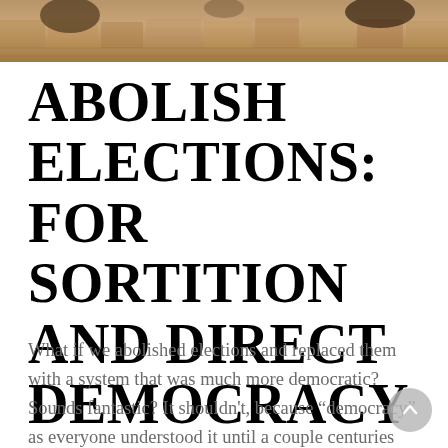[Figure (photo): Header image showing cobblestone ground with figures, warm earthy tones of brown and ochre]
ABOLISH ELECTIONS: FOR SORTITION AND DIRECT DEMOCRACY
What if we abolished elections and replaced them with a system that was much more democratic? Sounds fantastic? It shouldn't, because “democracy” as everyone understood it until a couple centuries ago had nothing to